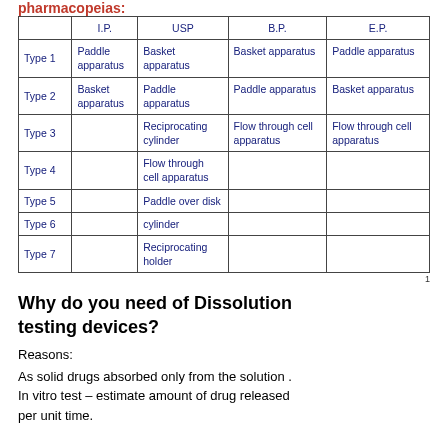pharmacopeias:
|  | I.P. | USP | B.P. | E.P. |
| --- | --- | --- | --- | --- |
| Type 1 | Paddle apparatus | Basket apparatus | Basket apparatus | Paddle apparatus |
| Type 2 | Basket apparatus | Paddle apparatus | Paddle apparatus | Basket apparatus |
| Type 3 |  | Reciprocating cylinder | Flow through cell apparatus | Flow through cell apparatus |
| Type 4 |  | Flow through  cell apparatus |  |  |
| Type 5 |  | Paddle over disk |  |  |
| Type 6 |  | cylinder |  |  |
| Type 7 |  | Reciprocating holder |  |  |
1
Why do you need of Dissolution testing devices?
Reasons:
As solid drugs absorbed only from the solution . In vitro test – estimate amount of drug released per unit time.